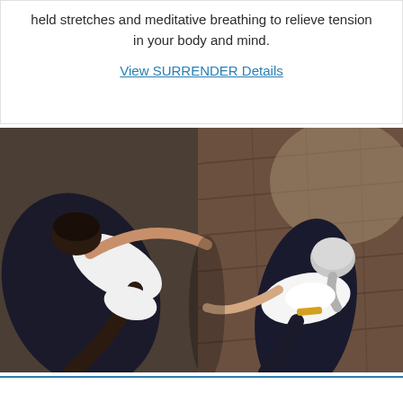held stretches and meditative breathing to relieve tension in your body and mind.
View SURRENDER Details
[Figure (photo): Aerial/overhead view of two women doing yoga stretches on dark yoga mats on a wooden floor. One woman has dark hair and is wearing a white top; the other has silver/grey hair in a ponytail and is also wearing a white top. Both are in a bow-like stretch pose viewed from above.]